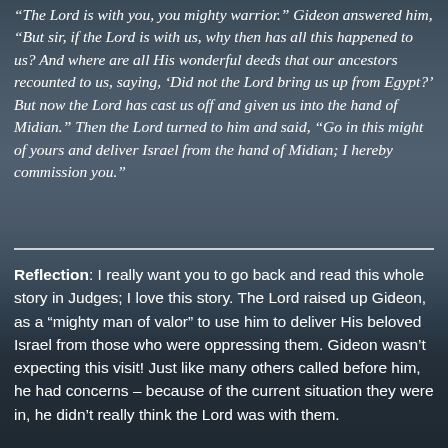“The Lord is with you, you mighty warrior.” Gideon answered him, “But sir, if the Lord is with us, why then has all this happened to us? And where are all His wonderful deeds that our ancestors recounted to us, saying, ‘Did not the Lord bring us up from Egypt?’ But now the Lord has cast us off and given us into the hand of Midian.” Then the Lord turned to him and said, “Go in this might of yours and deliver Israel from the hand of Midian; I hereby commission you.”
Reflection: I really want you to go back and read this whole story in Judges; I love this story. The Lord raised up Gideon, as a “mighty man of valor” to use him to deliver His beloved Israel from those who were oppressing them. Gideon wasn’t expecting this visit! Just like many others called before him, he had concerns – because of the current situation they were in, he didn’t really think the Lord was with them.